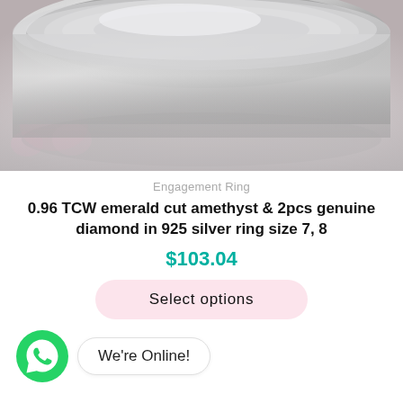[Figure (photo): Close-up photograph of a silver ring (engagement ring) with a flat top surface, shown against a light pinkish-white background]
Engagement Ring
0.96 TCW emerald cut amethyst & 2pcs genuine diamond in 925 silver ring size 7, 8
$103.04
Select options
We're Online!